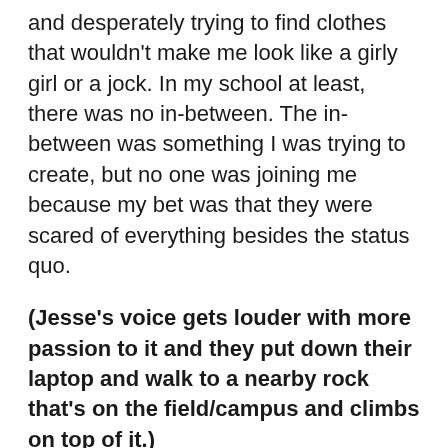and desperately trying to find clothes that wouldn't make me look like a girly girl or a jock. In my school at least, there was no in-between. The in-between was something I was trying to create, but no one was joining me because my bet was that they were scared of everything besides the status quo.
(Jesse's voice gets louder with more passion to it and they put down their laptop and walk to a nearby rock that's on the field/campus and climbs on top of it.)
I knew I had to do something. Not for me,